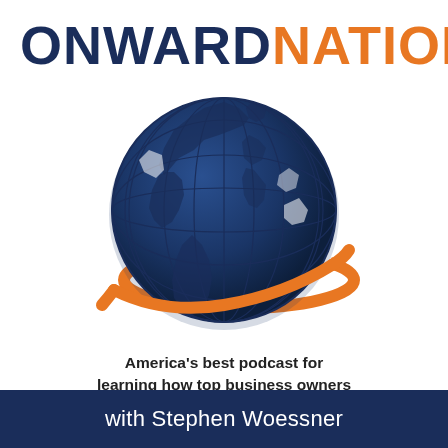ONWARDNATION
[Figure (logo): Globe with orange orbital ring around it, dark navy blue continents on blue sphere with latitude/longitude grid lines, representing the Onward Nation podcast logo]
America's best podcast for learning how top business owners Think, Act, & Achieve
with Stephen Woessner